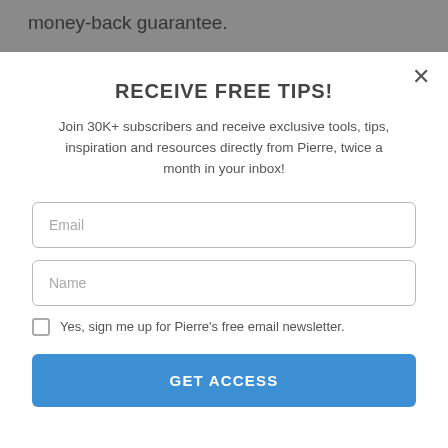money-back guarantee.
Here's what you will get
30 NEW refined Classic & Cinematic
RECEIVE FREE TIPS!
Join 30K+ subscribers and receive exclusive tools, tips, inspiration and resources directly from Pierre, twice a month in your inbox!
Email
Name
Yes, sign me up for Pierre's free email newsletter.
GET ACCESS